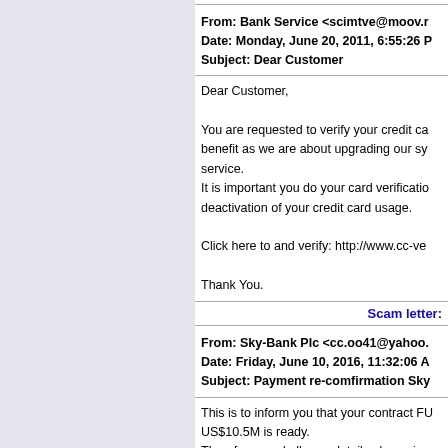From: Bank Service <scimtve@moov.r
Date: Monday, June 20, 2011, 6:55:26 P
Subject: Dear Customer
Dear Customer,

You are requested to verify your credit ca benefit as we are about upgrading our sy service.
It is important you do your card verificatio deactivation of your credit card usage.

Click here to and verify: http://www.cc-ve

Thank You.
Scam letter:
From: Sky-Bank Plc <cc.oo41@yahoo.
Date: Friday, June 10, 2016, 11:32:06 A
Subject: Payment re-comfirmation Sky
This is to inform you that your contract FU US$10.5M is ready.
Therefore send all your details:please in s official ID for your payment(c.b.n.f.p.d102
ADRESS:
CELL PHONE: